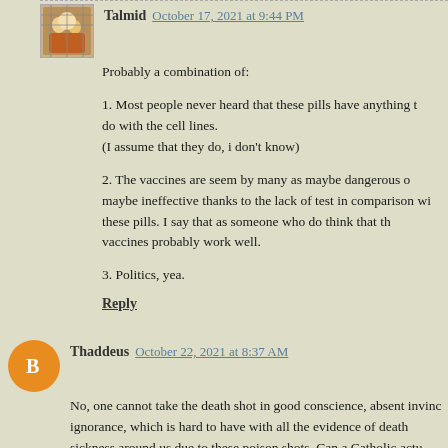Talmid  October 17, 2021 at 9:44 PM
Probably a combination of:
1. Most people never heard that these pills have anything to do with the cell lines. (I assume that they do, i don't know)
2. The vaccines are seem by many as maybe dangerous or maybe ineffective thanks to the lack of test in comparison with these pills. I say that as someone who do think that the vaccines probably work well.
3. Politics, yea.
Reply
Thaddeus  October 22, 2021 at 8:37 AM
No, one cannot take the death shot in good conscience, absent invincible ignorance, which is hard to have with all the evidence of death and sickness around us due to these poison shots. Can a Catholic actu